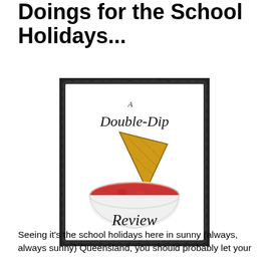Doings for the School Holidays...
[Figure (illustration): A Double-Dip Review logo: a tortilla chip dipped into a red salsa bowl on a white background, with decorative torn/rough black border. Script text reads 'A Double-Dip Review'.]
Seeing it's the school holidays here in sunny (always, always sunny) Queensland, you should probably let your